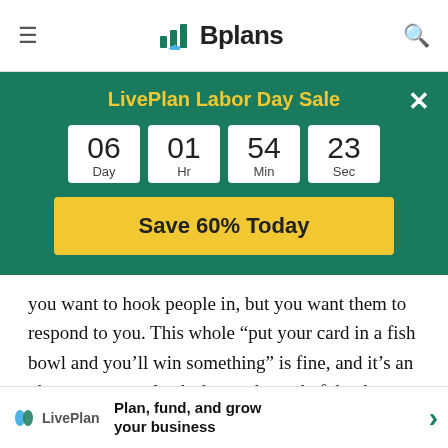Bplans
LivePlan Labor Day Sale
06 Day  01 Hr  54 Min  23 Sec
Save 60% Today
you want to hook people in, but you want them to respond to you. This whole “put your card in a fish bowl and you’ll win something” is fine, and it’s an okay way to get leads, but at the end of the day, most people putting their cards in there just want the iPad mini that you’re giving away. They don’t necessarily want your products and services. So, figure out a way to engage them and get the
g out,
so that you know that they’re engaged.
Plan, fund, and grow your business